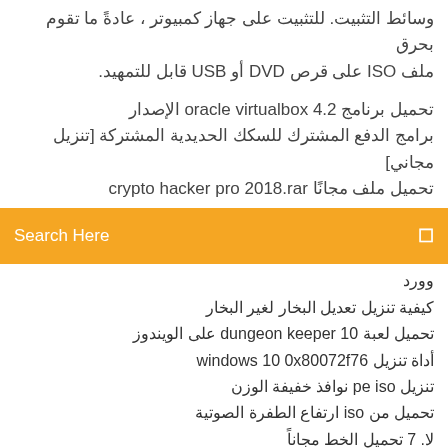وسائط التثبيت. للتثبيت على جهاز كمبيوتر ، عادةً ما تقوم بحرق ملف ISO على قرص DVD أو USB قابل للتمهيد.
تحميل برنامج oracle virtualbox 4.2 الإصدار برامج الدفع المشترك للسكك الحديدية المشتركة [تنزيل مجاني] تحميل ملف مجانًا crypto hacker pro 2018.rar
Search Here
وورد
كيفية تنزيل تعديل البخار لغير البخار
تحميل لعبة dungeon keeper 10 على الويندوز
أداة تنزيل windows 10 0x80072f76
تنزيل pe iso نوافذ خفيفة الوزن
تحميل من iso ارتفاع الطفرة الصوتية
لا. 7 تحميل الخط مجاناً
عالم فاينل فانتسي تحميل الكمبيوتر
التبيض الماس الغبار التمرد سيل تنزيل
تحميل النسخة الكاملة Xplane 11